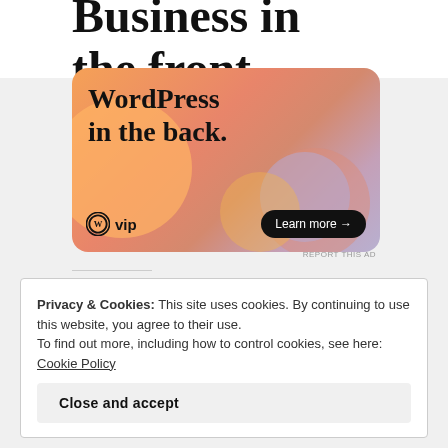Business in the front...
[Figure (illustration): WordPress VIP advertisement banner with orange/pink gradient background and colorful blobs. Text reads 'WordPress in the back.' with WordPress VIP logo and 'Learn more →' button.]
REPORT THIS AD
Share this:
Twitter  Facebook
Privacy & Cookies: This site uses cookies. By continuing to use this website, you agree to their use.
To find out more, including how to control cookies, see here: Cookie Policy
Close and accept